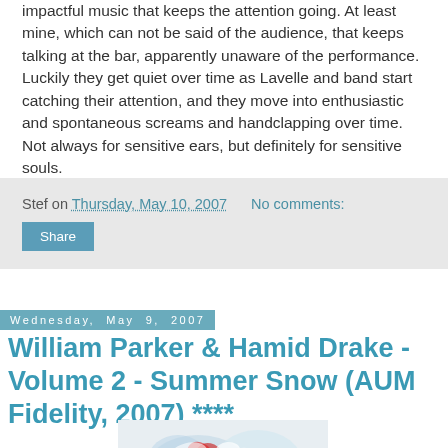impactful music that keeps the attention going. At least mine, which can not be said of the audience, that keeps talking at the bar, apparently unaware of the performance. Luckily they get quiet over time as Lavelle and band start catching their attention, and they move into enthusiastic and spontaneous screams and handclapping over time. Not always for sensitive ears, but definitely for sensitive souls.
Stef on Thursday, May 10, 2007  No comments:
Share
Wednesday, May 9, 2007
William Parker & Hamid Drake - Volume 2 - Summer Snow (AUM Fidelity, 2007) ****
[Figure (photo): Album cover art for William Parker & Hamid Drake - Summer Snow, colorful abstract image with blues, reds, and whites]